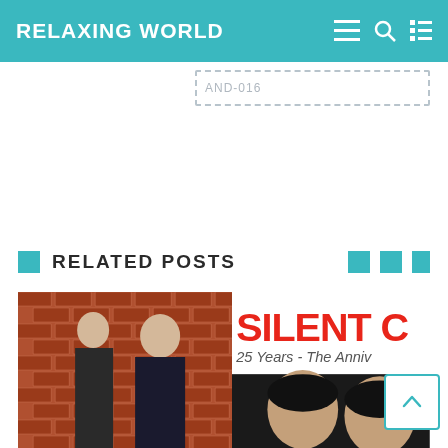RELAXING WORLD
[Figure (screenshot): Search input box with dashed border, partially visible text]
[Figure (screenshot): Large white advertisement/blank area]
RELATED POSTS
[Figure (photo): Two men standing against a brick wall on the left; on the right, album cover showing 'SILENT C' and '25 Years - The Anniv...' text with two men's faces visible below]